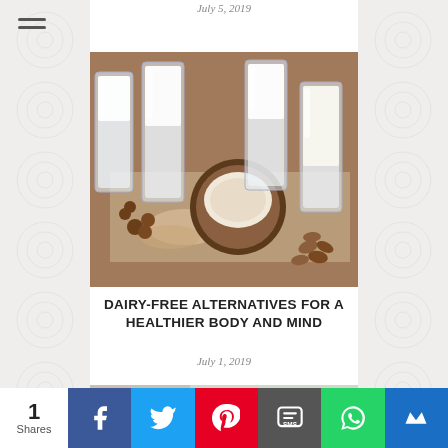July 5, 2019
[Figure (photo): Several glasses of white/plant-based milk (oat, coconut, almond, etc.) with hazelnuts, oats, a halved coconut, and almonds arranged on a burlap cloth on a wooden surface.]
DAIRY-FREE ALTERNATIVES FOR A HEALTHIER BODY AND MIND
July 1, 2019
[Figure (photo): Partial view of a second article image — appears to show green smoothie or health food items.]